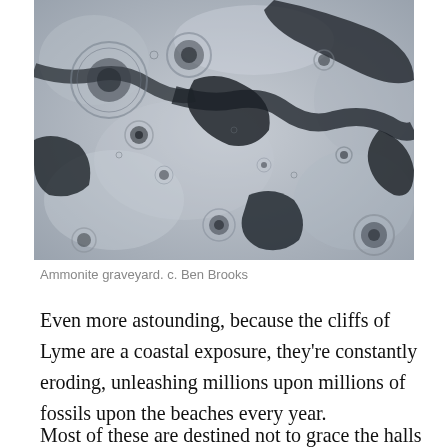[Figure (photo): Aerial or close-up photograph of ammonite graveyard — a rocky surface with circular and irregular dark impressions/fossils embedded in light grey stone, viewed from above.]
Ammonite graveyard. c. Ben Brooks
Even more astounding, because the cliffs of Lyme are a coastal exposure, they're constantly eroding, unleashing millions upon millions of fossils upon the beaches every year.
Most of these are destined not to grace the halls of great